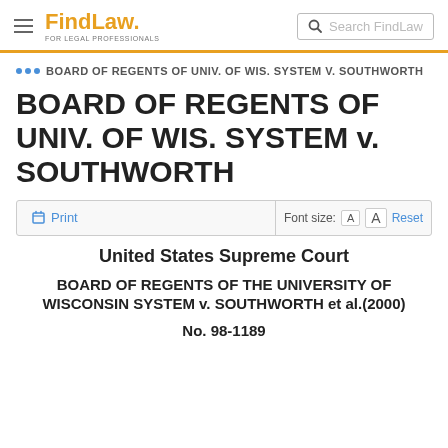FindLaw FOR LEGAL PROFESSIONALS | Search FindLaw
... BOARD OF REGENTS OF UNIV. OF WIS. SYSTEM V. SOUTHWORTH
BOARD OF REGENTS OF UNIV. OF WIS. SYSTEM v. SOUTHWORTH
Print | Font size: A A Reset
United States Supreme Court
BOARD OF REGENTS OF THE UNIVERSITY OF WISCONSIN SYSTEM v. SOUTHWORTH et al.(2000)
No. 98-1189